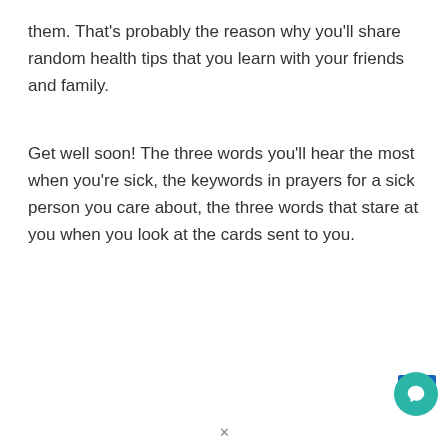them. That's probably the reason why you'll share random health tips that you learn with your friends and family.
Get well soon! The three words you'll hear the most when you're sick, the keywords in prayers for a sick person you care about, the three words that stare at you when you look at the cards sent to you.
[Figure (other): Blue bar and circular green chat button with speech bubble icon in bottom-right corner]